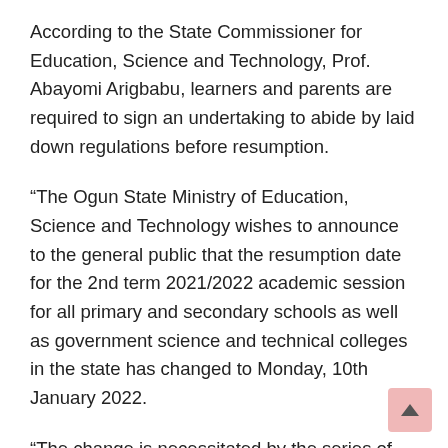According to the State Commissioner for Education, Science and Technology, Prof. Abayomi Arigbabu, learners and parents are required to sign an undertaking to abide by laid down regulations before resumption.
“The Ogun State Ministry of Education, Science and Technology wishes to announce to the general public that the resumption date for the 2nd term 2021/2022 academic session for all primary and secondary schools as well as government science and technical colleges in the state has changed to Monday, 10th January 2022.
“The change is necessitated by the series of pre-resumption activities lined up by the